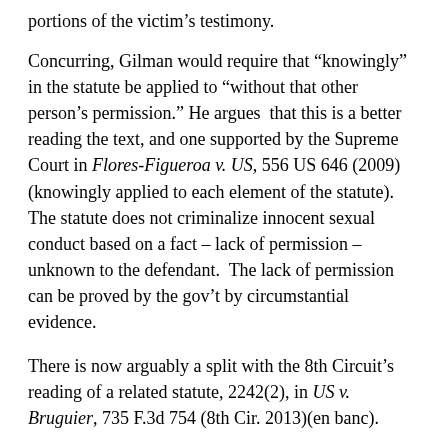portions of the victim's testimony.
Concurring, Gilman would require that “knowingly” in the statute be applied to “without that other person’s permission.” He argues that this is a better reading the text, and one supported by the Supreme Court in Flores-Figueroa v. US, 556 US 646 (2009)(knowingly applied to each element of the statute). The statute does not criminalize innocent sexual conduct based on a fact – lack of permission – unknown to the defendant. The lack of permission can be proved by the gov’t by circumstantial evidence.
There is now arguably a split with the 8th Circuit’s reading of a related statute, 2242(2), in US v. Bruguier, 735 F.3d 754 (8th Cir. 2013)(en banc).
Gilman concurs because any error was harmless. He notes too that his “concurrence” was taken from a draft opinion authored by Judge Reinhardt before his death. He concurs but this was not intended as a concurrence.